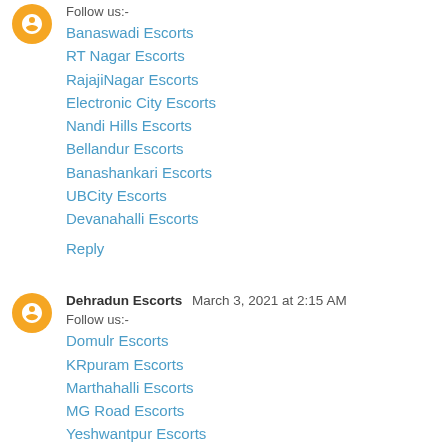Follow us:-
Banaswadi Escorts
RT Nagar Escorts
RajajiNagar Escorts
Electronic City Escorts
Nandi Hills Escorts
Bellandur Escorts
Banashankari Escorts
UBCity Escorts
Devanahalli Escorts
Reply
Dehradun Escorts  March 3, 2021 at 2:15 AM
Follow us:-
Domulr Escorts
KRpuram Escorts
Marthahalli Escorts
MG Road Escorts
Yeshwantpur Escorts
Vijaynagar Escorts